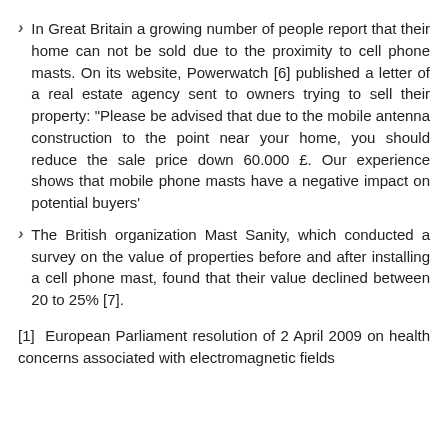In Great Britain a growing number of people report that their home can not be sold due to the proximity to cell phone masts. On its website, Powerwatch [6] published a letter of a real estate agency sent to owners trying to sell their property: "Please be advised that due to the mobile antenna construction to the point near your home, you should reduce the sale price down 60.000 £. Our experience shows that mobile phone masts have a negative impact on potential buyers'
The British organization Mast Sanity, which conducted a survey on the value of properties before and after installing a cell phone mast, found that their value declined between 20 to 25% [7].
[1] European Parliament resolution of 2 April 2009 on health concerns associated with electromagnetic fields